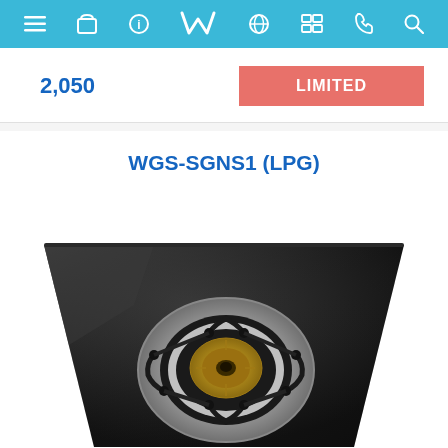Navigation bar with menu, cart, info, logo, globe, catalog, phone, search icons
2,050
LIMITED
WGS-SGNS1 (LPG)
[Figure (photo): Single burner black glass gas stove (WGS-SGNS1 LPG) with stainless steel burner ring, brass burner cap, and black pan supports, viewed from above at an angle.]